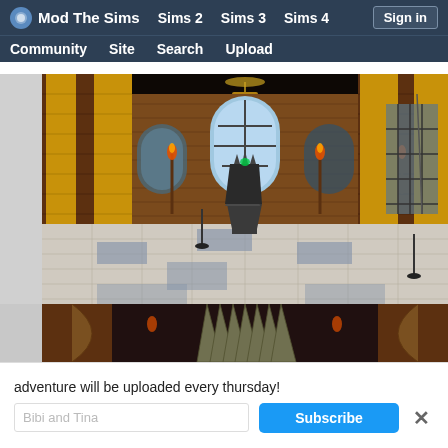Mod The Sims | Sims 2 | Sims 3 | Sims 4 | Sign in | Community | Site | Search | Upload
[Figure (screenshot): Two screenshots of a Sims game interior resembling a medieval throne room (Game of Thrones inspired). Top image shows wide hall with stone tiles, golden brick columns, torches, and an iron throne in the center. Bottom image is a close-up of the iron throne with arched windows behind it.]
adventure will be uploaded every thursday!
Bibi and Tina
Subscribe